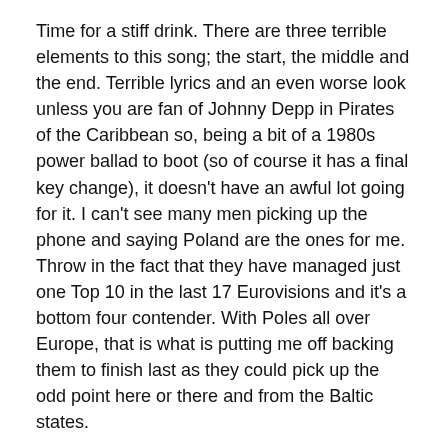Time for a stiff drink. There are three terrible elements to this song; the start, the middle and the end. Terrible lyrics and an even worse look unless you are fan of Johnny Depp in Pirates of the Caribbean so, being a bit of a 1980s power ballad to boot (so of course it has a final key change), it doesn't have an awful lot going for it. I can't see many men picking up the phone and saying Poland are the ones for me. Throw in the fact that they have managed just one Top 10 in the last 17 Eurovisions and it's a bottom four contender. With Poles all over Europe, that is what is putting me off backing them to finish last as they could pick up the odd point here or there and from the Baltic states.
Australia (4/1 Best Odds)
The big mover after the semi-finals into clear second-favourite after finishing fifth on debut last year, I'm not a big fan of the song as find it a little obvious and boring but I have to respect the market move as the act that